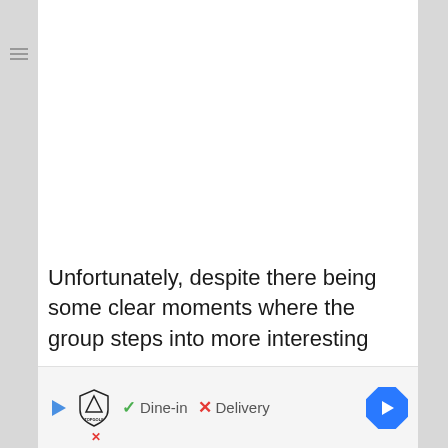Unfortunately, despite there being some clear moments where the group steps into more interesting
[Figure (other): Advertisement banner for Topgolf showing play button, Topgolf shield logo, dine-in with checkmark, delivery with X mark, and navigation arrow button]